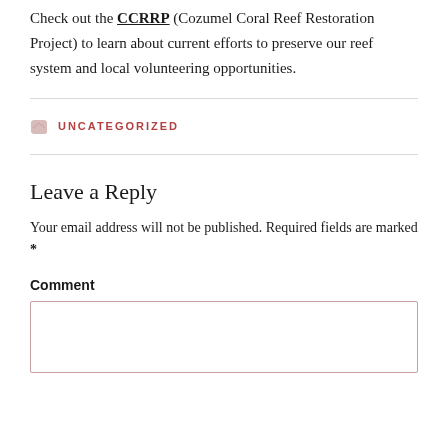Check out the CCRRP (Cozumel Coral Reef Restoration Project) to learn about current efforts to preserve our reef system and local volunteering opportunities.
UNCATEGORIZED
Leave a Reply
Your email address will not be published. Required fields are marked *
Comment